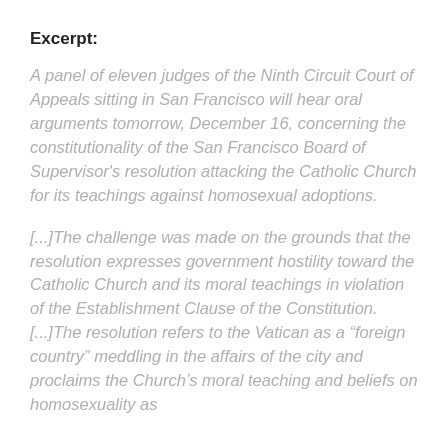Excerpt:
A panel of eleven judges of the Ninth Circuit Court of Appeals sitting in San Francisco will hear oral arguments tomorrow, December 16, concerning the constitutionality of the San Francisco Board of Supervisor's resolution attacking the Catholic Church for its teachings against homosexual adoptions.
[...]The challenge was made on the grounds that the resolution expresses government hostility toward the Catholic Church and its moral teachings in violation of the Establishment Clause of the Constitution.[...]The resolution refers to the Vatican as a “foreign country” meddling in the affairs of the city and proclaims the Church’s moral teaching and beliefs on homosexuality as “hostile to all San Franciscans,” (hostile”